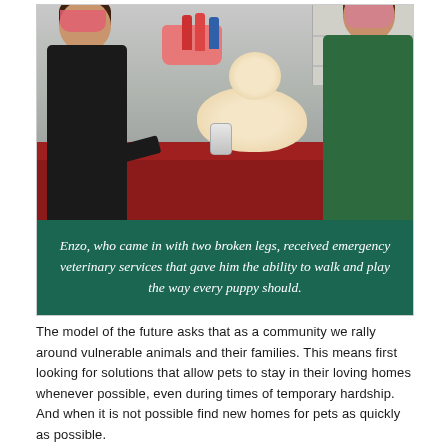[Figure (photo): A small Pomeranian dog with bandaged legs lies on a red exam table in a veterinary clinic. Two veterinary staff members in scrubs and masks attend to the dog.]
Enzo, who came in with two broken legs, received emergency veterinary services that gave him the ability to walk and play the way every puppy should.
The model of the future asks that as a community we rally around vulnerable animals and their families. This means first looking for solutions that allow pets to stay in their loving homes whenever possible, even during times of temporary hardship. And when it is not possible find new homes for pets as quickly as possible.